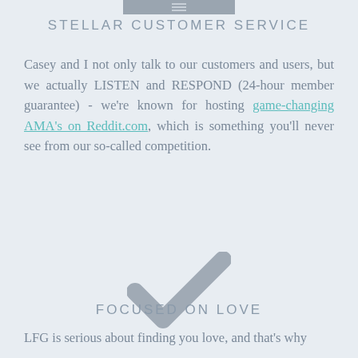STELLAR CUSTOMER SERVICE
STELLAR CUSTOMER SERVICE
Casey and I not only talk to our customers and users, but we actually LISTEN and RESPOND (24-hour member guarantee) - we're known for hosting game-changing AMA's on Reddit.com, which is something you'll never see from our so-called competition.
[Figure (illustration): A large grey checkmark symbol centered on the page]
FOCUSED ON LOVE
LFG is serious about finding you love, and that's why